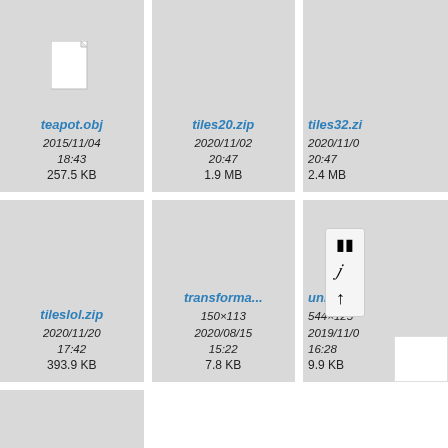[Figure (screenshot): File browser grid view showing file cards: teapot.obj, tiles20.zip, tiles32.zip (partial), tileslol.zip, transforma..., union s... with metadata including dates and file sizes. A context menu popup is visible on the union file card.]
teapot.obj
2015/11/04 18:43
257.5 KB
tiles20.zip
2020/11/02 20:47
1.9 MB
tiles32.zi...
2020/11/0... 20:47
2.4 MB
tileslol.zip
2020/11/20 17:42
393.9 KB
transforma...
150×113
2020/08/15 15:22
7.8 KB
union s...
544×125...
2019/11/0... 16:28
9.9 KB